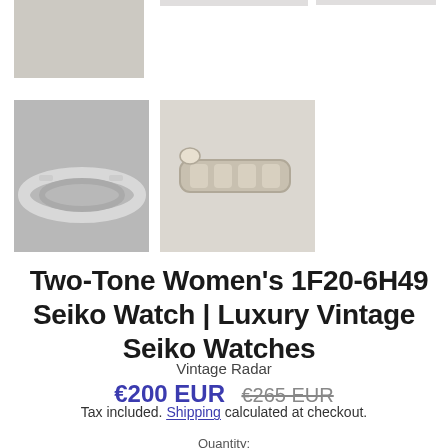[Figure (photo): Top partial image row showing a grey/beige photo on the left and two smaller partial images on the right]
[Figure (photo): Photo of the back clasp of a two-tone Seiko watch bracelet on a light surface]
[Figure (photo): Photo of a two-tone Seiko women's watch bracelet viewed from the side/top]
Two-Tone Women's 1F20-6H49 Seiko Watch | Luxury Vintage Seiko Watches
Vintage Radar
€200 EUR  €265 EUR
Tax included. Shipping calculated at checkout.
Quantity: